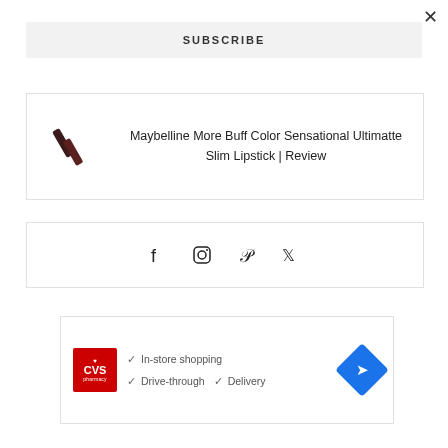×
SUBSCRIBE
[Figure (photo): Maybelline lipstick product image — two slim dark-colored lipstick tubes]
Maybelline More Buff Color Sensational Ultimatte Slim Lipstick | Review
[Figure (other): Social media icons: Facebook, Instagram, Pinterest, Twitter]
[Figure (other): CVS Pharmacy advertisement banner showing In-store shopping, Drive-through, and Delivery checkmarks with CVS logo and directions button]